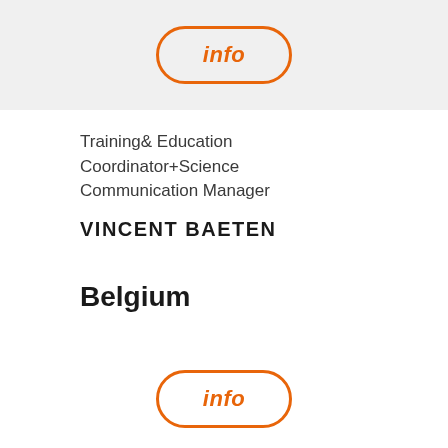[Figure (other): Orange rounded rectangle button with italic bold 'info' text in orange, on a light grey background banner at top]
Training& Education Coordinator+Science Communication Manager
VINCENT BAETEN
Belgium
[Figure (other): Orange rounded rectangle button with italic bold 'info' text in orange, on white background at bottom]